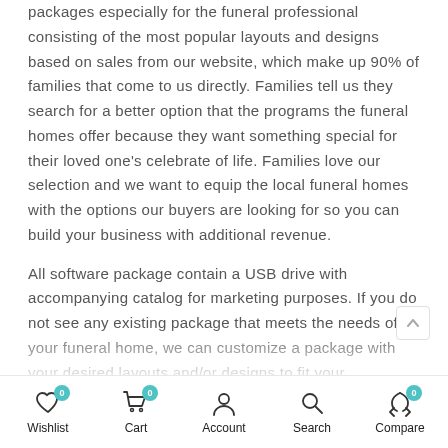packages especially for the funeral professional consisting of the most popular layouts and designs based on sales from our website, which make up 90% of families that come to us directly. Families tell us they search for a better option that the programs the funeral homes offer because they want something special for their loved one's celebrate of life. Families love our selection and we want to equip the local funeral homes with the options our buyers are looking for so you can build your business with additional revenue.

All software package contain a USB drive with accompanying catalog for marketing purposes. If you do not see any existing package that meets the needs of your funeral home, we can customize a package with your desired layouts and/or designs to fit your geographical area and funeral home! Funeral homes that purchase any of our packages automatically get enrolled into our
Wishlist  Cart  Account  Search  Compare